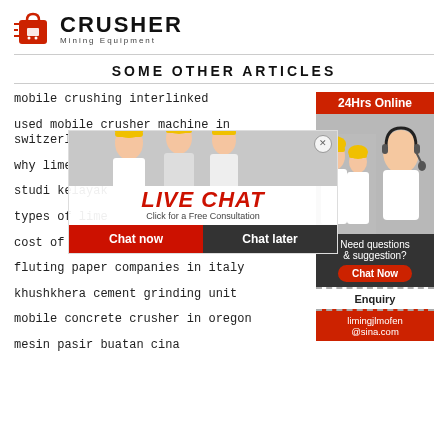[Figure (logo): Crusher Mining Equipment logo with red shopping bag icon and bold CRUSHER text]
SOME OTHER ARTICLES
mobile crushing interlinked
used mobile crusher machine in switzerland
why limestone
studi kelayak
types of lime
cost of pe 500 750 crusher
fluting paper companies in italy
khushkhera cement grinding unit
mobile concrete crusher in oregon
mesin pasir buatan cina
[Figure (infographic): Live chat widget overlay showing workers in hard hats, LIVE CHAT heading, Click for a Free Consultation, Chat now and Chat later buttons]
[Figure (photo): Sidebar with 24Hrs Online header, customer service agent photo, Need questions & suggestion, Chat Now button, Enquiry section, limingjlmofen@sina.com email]